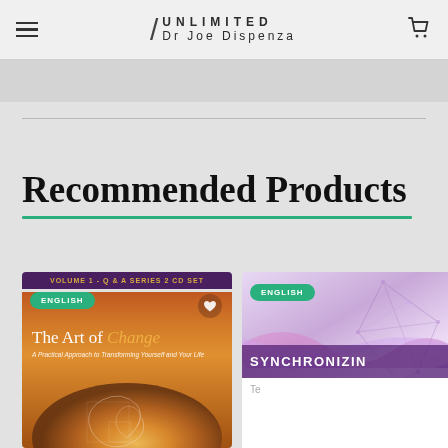UNLIMITED Dr Joe Dispenza
Recommended Products
[Figure (illustration): Product card for 'The Art of Change – A Practical Approach to Transforming Yourself and Your Life', Volume 1 Q&A Series 2 CD Set, English badge, spiral shell cover art]
[Figure (illustration): Product card partially visible showing 'SYNCHRONIZIN...' title with purple/lavender geometric network design, English badge]